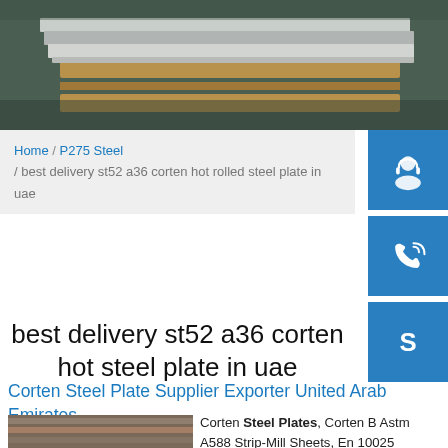[Figure (photo): Steel plates stacked on wooden pallets, viewed from above at an angle, dark background]
Home / P275 Steel / best delivery st52 a36 corten hot rolled steel plate in uae
[Figure (illustration): Blue sidebar icons: headset/support icon, phone/call icon, Skype icon]
best delivery st52 a36 corten hot steel plate in uae
Corten Steel Plate Supplier Exporter United Arab Emirates ...
[Figure (photo): Stack of steel/corten plates in varying thicknesses, showing gray and reddish surfaces]
Corten Steel Plates, Corten B Astm A588 Strip-Mill Sheets, En 10025 S355jow Structural Steel Pla...